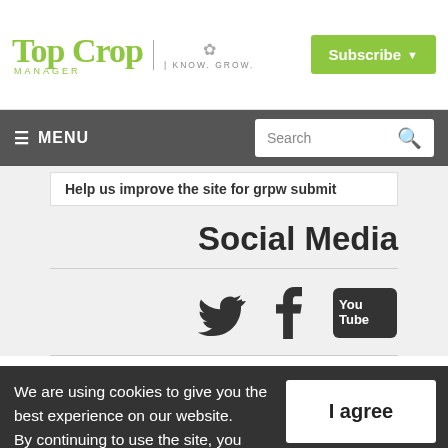TOP CROP MANAGER | KNOW. GROW.
[Figure (logo): Top Crop Manager logo with 'Know. Grow.' tagline and Subscribe button]
≡ MENU  Search
Help us improve the site for grpw submit
Social Media
[Figure (infographic): Social media icons: Twitter bird, Facebook f, YouTube logo]
We are using cookies to give you the best experience on our website. By continuing to use the site, you agree to the use of cookies. To find out more, read our privacy policy.